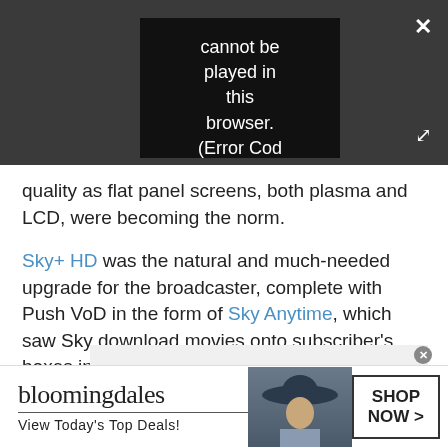[Figure (screenshot): Video player with dark background showing error message: 'Video cannot be played in this browser. (Error Cod' with PLAY SOUND control bar and close/fullscreen buttons]
quality as flat panel screens, both plasma and LCD, were becoming the norm.
Sky+ HD was the natural and much-needed upgrade for the broadcaster, complete with Push VoD in the form of Sky Anytime, which saw Sky download movies onto subscriber's boxes in the dead of night.
Advertisement
[Figure (screenshot): Bloomingdales advertisement banner: 'bloomingdales View Today's Top Deals!' with model in hat and SHOP NOW > button]